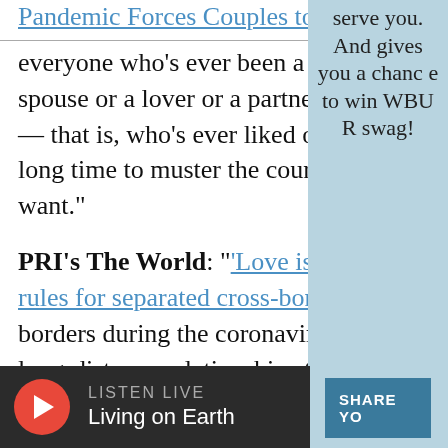Pandemic Forces Couples to Decide
everyone who's ever been a boyfriend, girlfriend, or a spouse or a lover or a partner, even a friend with benefits — that is, who's ever liked or loved anyone — k… take a long time to muster the courage… exactly what you want."
PRI's The World: "'Love is essential': countries relax rules for separated cross-border couples" — "Closed borders during the coronavirus pandemic have taken long-distance relationships to a whole new level. Now, countries are providing sweet relief fo…
serve you. And gives you a chance to win WBUR swag!
SHARE YO
LISTEN LIVE
Living on Earth